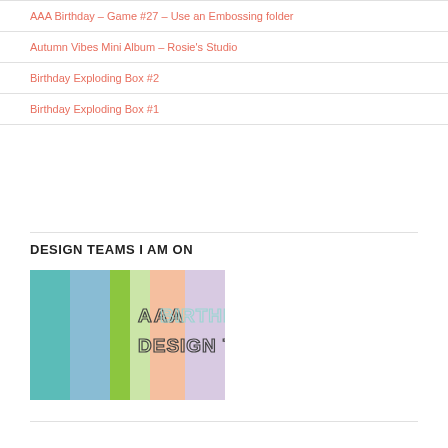AAA Birthday – Game #27 – Use an Embossing folder
Autumn Vibes Mini Album – Rosie's Studio
Birthday Exploding Box #2
Birthday Exploding Box #1
DESIGN TEAMS I AM ON
[Figure (logo): AAA Birthday Design Team logo with colored vertical stripes (teal, light blue, green, orange, purple) and text 'AAA BIRTHDAY DESIGN TEAM' in outlined block letters]